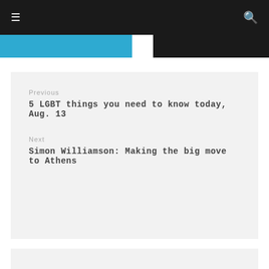≡   🔍
Previous
5 LGBT things you need to know today, Aug. 13
Next
Simon Williamson: Making the big move to Athens